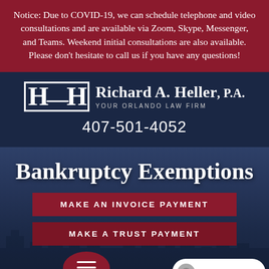Notice: Due to COVID-19, we can schedule telephone and video consultations and are available via Zoom, Skype, Messenger, and Teams. Weekend initial consultations are also available. Please don't hesitate to call us if you have any questions!
[Figure (logo): Richard A. Heller, P.A. law firm logo with stylized H-R-H lettermark and tagline 'YOUR ORLANDO LAW FIRM', and phone number 407-501-4052]
Bankruptcy Exemptions
MAKE AN INVOICE PAYMENT
MAKE A TRUST PAYMENT
··· Text Us Now